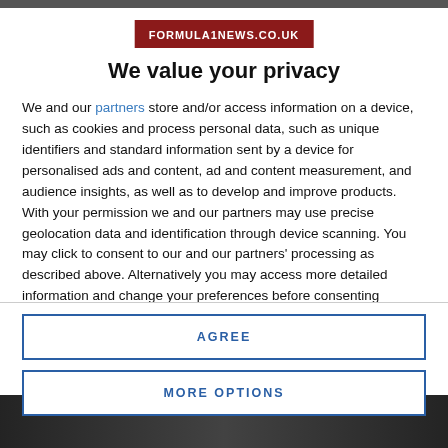[Figure (logo): FORMULA1NEWS.CO.UK logo in red/dark red background with white text]
We value your privacy
We and our partners store and/or access information on a device, such as cookies and process personal data, such as unique identifiers and standard information sent by a device for personalised ads and content, ad and content measurement, and audience insights, as well as to develop and improve products. With your permission we and our partners may use precise geolocation data and identification through device scanning. You may click to consent to our and our partners' processing as described above. Alternatively you may access more detailed information and change your preferences before consenting
AGREE
MORE OPTIONS